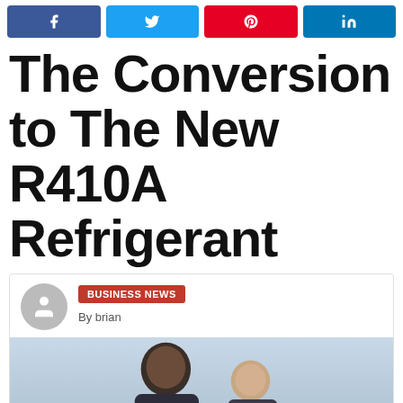[Figure (infographic): Social share buttons: Facebook, Twitter, Pinterest, LinkedIn]
The Conversion to The New R410A Refrigerant
BUSINESS NEWS
By brian
[Figure (photo): Photo of two men outdoors with cloudy sky background]